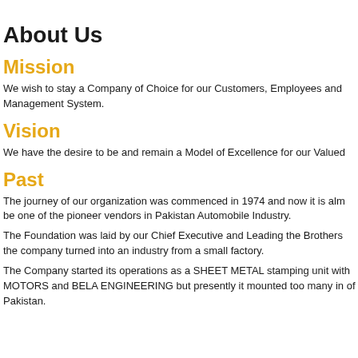About Us
Mission
We wish to stay a Company of Choice for our Customers, Employees and Management System.
Vision
We have the desire to be and remain a Model of Excellence for our Valued
Past
The journey of our organization was commenced in 1974 and now it is alm be one of the pioneer vendors in Pakistan Automobile Industry.
The Foundation was laid by our Chief Executive and Leading the Brothers the company turned into an industry from a small factory.
The Company started its operations as a SHEET METAL stamping unit with MOTORS and BELA ENGINEERING but presently it mounted too many in of Pakistan.